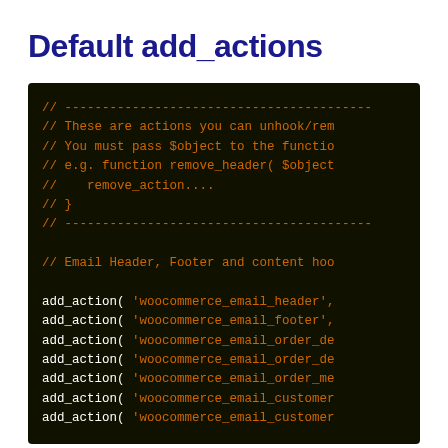Default add_actions
[Figure (screenshot): Dark terminal/code editor screenshot showing PHP code with orange comments and white code text. Comments describe unhookable actions and code shows add_action() calls for woocommerce email hooks including woocommerce_email_header, woocommerce_email_footer, woocommerce_email_order_de..., woocommerce_email_order_me..., woocommerce_email_customer...]